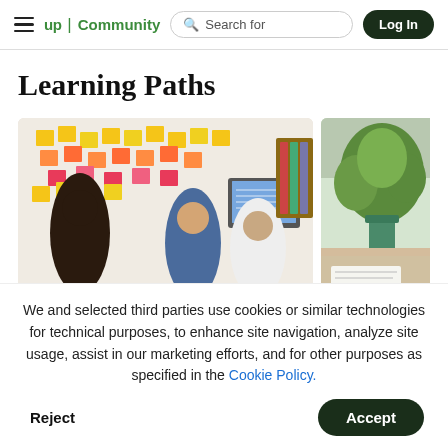up Community | Search for | Log In
Learning Paths
[Figure (photo): Team meeting with colorful sticky notes on a whiteboard, people discussing around a monitor]
[Figure (photo): Person reading near a green plant on a shelf]
We and selected third parties use cookies or similar technologies for technical purposes, to enhance site navigation, analyze site usage, assist in our marketing efforts, and for other purposes as specified in the Cookie Policy.
Accept
Reject